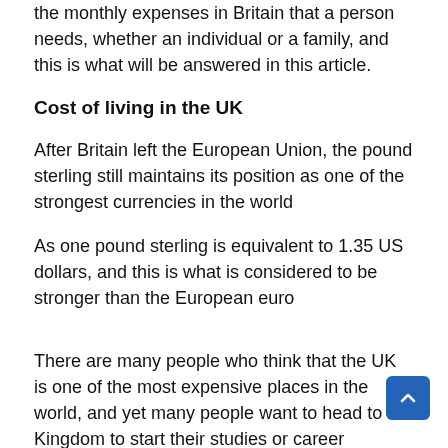the monthly expenses in Britain that a person needs, whether an individual or a family, and this is what will be answered in this article.
Cost of living in the UK
After Britain left the European Union, the pound sterling still maintains its position as one of the strongest currencies in the world
As one pound sterling is equivalent to 1.35 US dollars, and this is what is considered to be stronger than the European euro
There are many people who think that the UK is one of the most expensive places in the world, and yet many people want to head to the Kingdom to start their studies or career